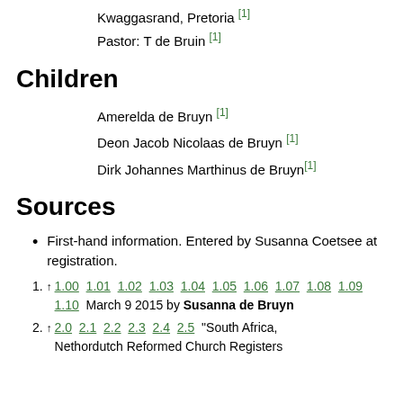Kwaggasrand, Pretoria [1]
Pastor: T de Bruin [1]
Children
Amerelda de Bruyn [1]
Deon Jacob Nicolaas de Bruyn [1]
Dirk Johannes Marthinus de Bruyn[1]
Sources
First-hand information. Entered by Susanna Coetsee at registration.
1. ↑ 1.00 1.01 1.02 1.03 1.04 1.05 1.06 1.07 1.08 1.09 1.10 March 9 2015 by Susanna de Bruyn
2. ↑ 2.0 2.1 2.2 2.3 2.4 2.5 "South Africa, Nethordutch Reformed Church Registers